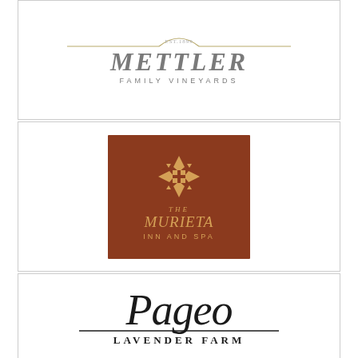[Figure (logo): Mettler Family Vineyards logo: horizontal gold lines with 'EST. 1899' above, large serif text 'METTLER' with 'FAMILY VINEYARDS' below in spaced caps]
[Figure (logo): The Murieta Inn and Spa logo: brown square background with gold ornate cross/diamond symbol and text 'THE MURIETA INN AND SPA' in gold serif/caps]
[Figure (logo): Pageo Lavender Farm logo: large cursive/script 'Pageo' above a horizontal rule and 'LAVENDER FARM' in serif capitals]